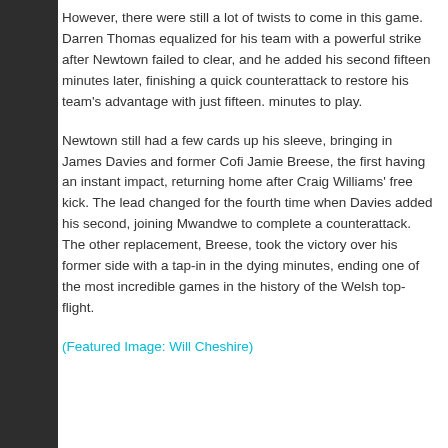However, there were still a lot of twists to come in this game. Darren Thomas equalized for his team with a powerful strike after Newtown failed to clear, and he added his second fifteen minutes later, finishing a quick counterattack to restore his team's advantage with just fifteen. minutes to play.
Newtown still had a few cards up his sleeve, bringing in James Davies and former Cofi Jamie Breese, the first having an instant impact, returning home after Craig Williams' free kick. The lead changed for the fourth time when Davies added his second, joining Mwandwe to complete a counterattack. The other replacement, Breese, took the victory over his former side with a tap-in in the dying minutes, ending one of the most incredible games in the history of the Welsh top-flight.
(Featured Image: Will Cheshire)